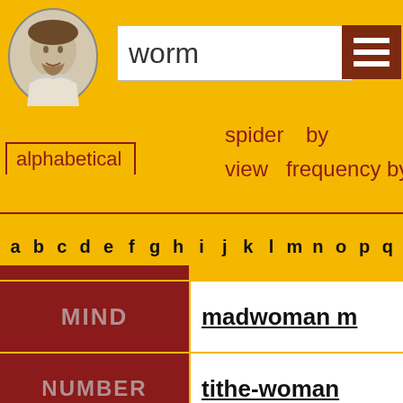[Figure (screenshot): Shakespeare portrait circle logo]
worm
[Figure (other): Hamburger menu icon (three horizontal bars on dark red background)]
alphabetical
spider view
by frequency
by
a b c d e f g h i j k l m n o p q
|  |  |
| --- | --- |
| MIND | madwoman m |
| NUMBER | tithe-woman |
| RANK | beggar-wom |